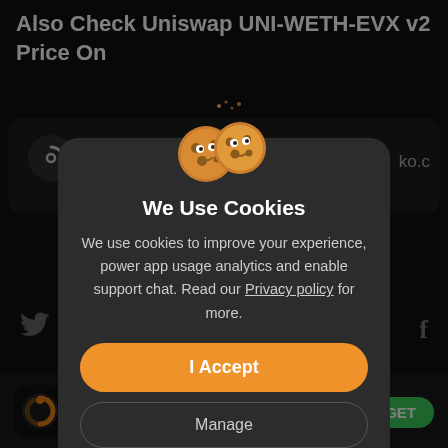Also Check Uniswap UNI-WETH-EVX v2 Price On
[Figure (screenshot): Cookie consent modal dialog on a dark-themed website. Shows two cartoon cookie characters at top, title 'We Use Cookies', body text about privacy policy, an orange 'I Accept' button, and a 'Manage' button. Background shows partial UI with icons.]
We Use Cookies
We use cookies to improve your experience, power app usage analytics and enable support chat. Read our Privacy policy for more.
I Accept
Manage
(935K)